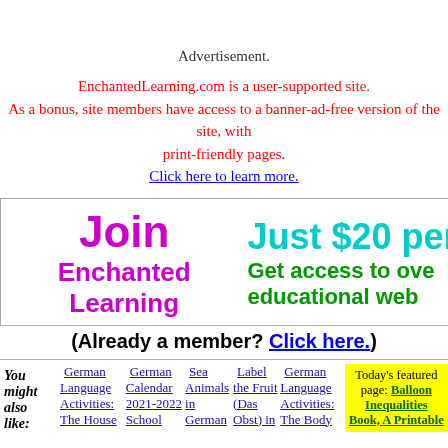Advertisement.
EnchantedLearning.com is a user-supported site. As a bonus, site members have access to a banner-ad-free version of the site, with print-friendly pages. Click here to learn more.
[Figure (infographic): Join Enchanted Learning promotional banner with purple text on left and teal/green text on right showing Just $20 per year and Get access to over educational web]
(Already a member? Click here.)
You might also like:
German Language Activities: The House
German Calendar 2021-2022 School
Sea Animals in German
Label the Fruit (Das Obst) in
German Language Activities: The Body
Today's featured page: Balloon Inequalities Book, A Printable